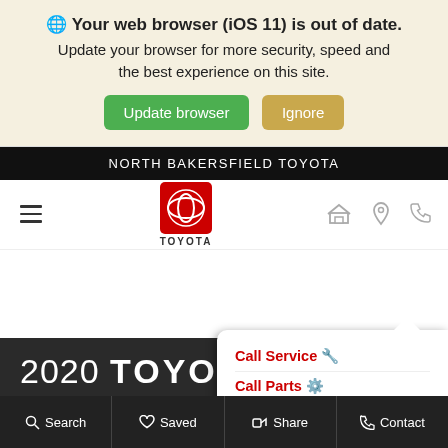🌐 Your web browser (iOS 11) is out of date. Update your browser for more security, speed and the best experience on this site.
Update browser | Ignore
NORTH BAKERSFIELD TOYOTA
[Figure (logo): Toyota logo - red rounded square with Toyota T symbol and TOYOTA text below]
2020 TOYOTA 4Runner
$27,060
Call Service 🔧 | Call Parts ⚙️ | Call Sales 🏷️
Search | Saved | Share | Contact